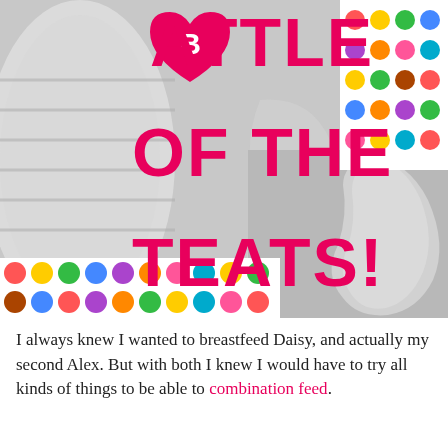[Figure (photo): Composite image of baby bottles and teats with colorful polka dot decorations. Large bold pink text overlay reads 'BATTLE OF THE TEATS!' with a heart-shaped B logo at the start.]
I always knew I wanted to breastfeed Daisy, and actually my second Alex. But with both I knew I would have to try all kinds of things to be able to combination feed.